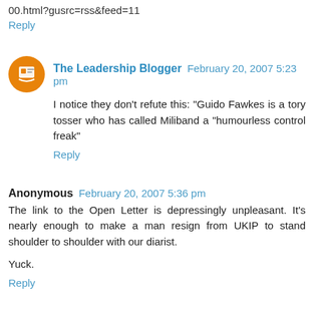00.html?gusrc=rss&feed=11
Reply
The Leadership Blogger  February 20, 2007 5:23 pm
I notice they don't refute this: "Guido Fawkes is a tory tosser who has called Miliband a "humourless control freak"
Reply
Anonymous  February 20, 2007 5:36 pm
The link to the Open Letter is depressingly unpleasant. It's nearly enough to make a man resign from UKIP to stand shoulder to shoulder with our diarist.

Yuck.
Reply
Johnny Norfolk  February 20, 2007 5:44 pm